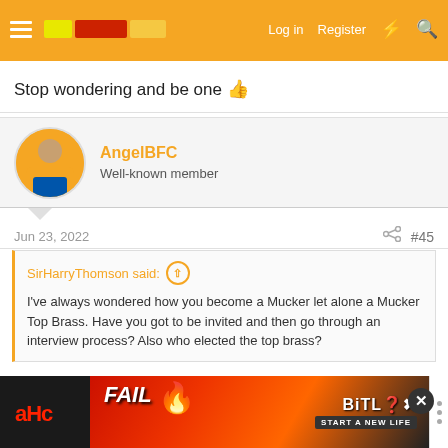Log in  Register
Stop wondering and be one 👍
AngelBFC
Well-known member
Jun 23, 2022   #45
SirHarryThomson said: ↑
I've always wondered how you become a Mucker let alone a Mucker Top Brass. Have you got to be invited and then go through an interview process? Also who elected the top brass?
I dont think its that easy.
Think its something like this.
[Figure (screenshot): Advertisement banner for BitLife game with FAIL text and 'START A NEW LIFE' subtitle, on a red/fire background. Close button visible.]